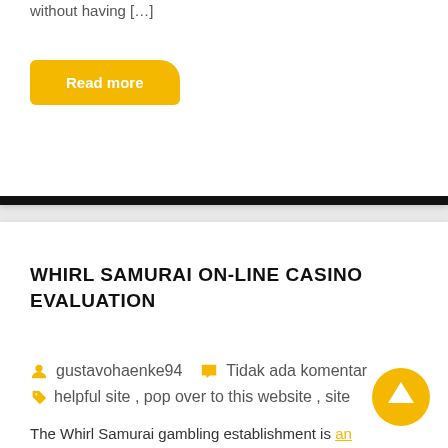without having […]
Read more
WHIRL SAMURAI ON-LINE CASINO EVALUATION
gustavohaenke94   Tidak ada komentar   helpful site , pop over to this website , site
The Whirl Samurai gambling establishment is an on-line casino which has been in running a